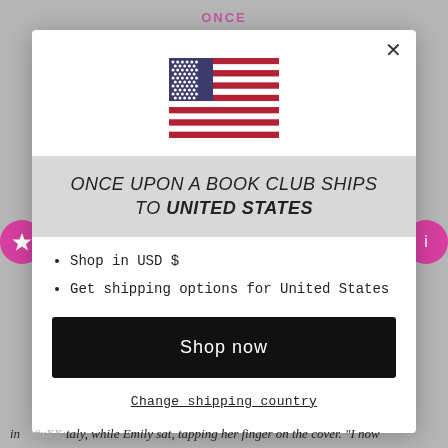ONCE
[Figure (illustration): US flag SVG illustration in center of modal]
ONCE UPON A BOOK CLUB SHIPS TO UNITED STATES
Shop in USD $
Get shipping options for United States
Shop now
Change shipping country
in Italy, while Emily sat, tapping her finger on the cover. "I now